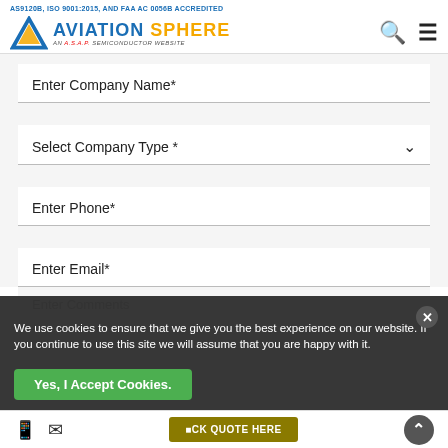AS9120B, ISO 9001:2015, AND FAA AC 0056B ACCREDITED
[Figure (logo): Aviation Sphere logo with triangle icon and tagline 'AN A.S.A.P. SEMICONDUCTOR WEBSITE']
Enter Company Name*
Select Company Type *
Enter Phone*
Enter Email*
Enter Comments
We use cookies to ensure that we give you the best experience on our website. If you continue to use this site we will assume that you are happy with it.
Yes, I Accept Cookies.
CLICK QUOTE HERE